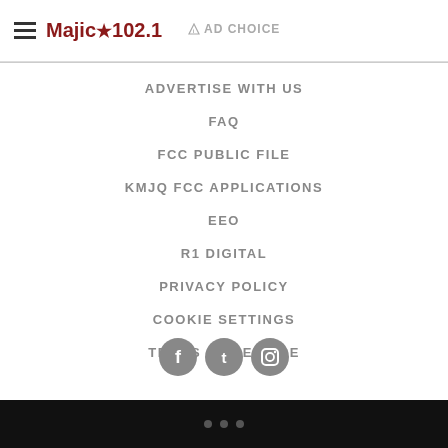Majic 102.1 | AD CHOICE
ADVERTISE WITH US
FAQ
FCC PUBLIC FILE
KMJQ FCC APPLICATIONS
EEO
R1 DIGITAL
PRIVACY POLICY
COOKIE SETTINGS
TERMS OF SERVICE
[Figure (other): Social media icons: Facebook, Twitter, Instagram]
...